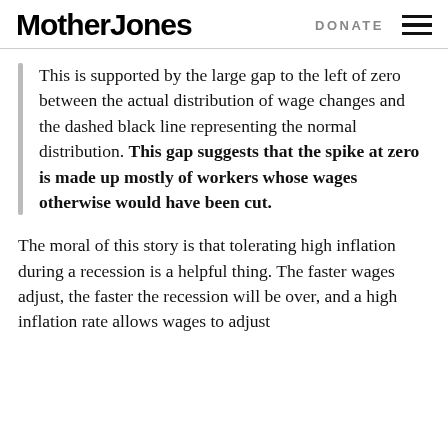Mother Jones | DONATE
This is supported by the large gap to the left of zero between the actual distribution of wage changes and the dashed black line representing the normal distribution. This gap suggests that the spike at zero is made up mostly of workers whose wages otherwise would have been cut.
The moral of this story is that tolerating high inflation during a recession is a helpful thing. The faster wages adjust, the faster the recession will be over, and a high inflation rate allows wages to adjust